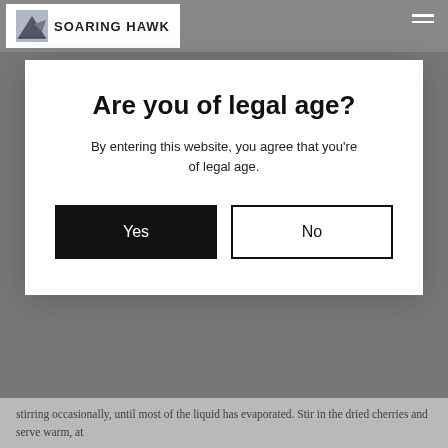[Figure (screenshot): Soaring Hawk website navigation bar with logo and hamburger menu on gray background]
Are you of legal age?
By entering this website, you agree that you're of legal age.
Yes
No
stirring occasionally, until most of the liquid has evaporated. Stir in the dried cherries and serve warm, at